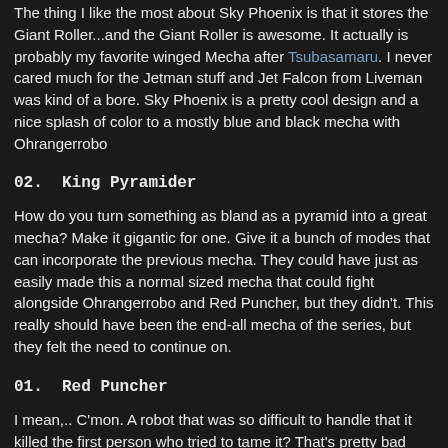The thing I like the most about Sky Phoenix is that it stores the Giant Roller...and the Giant Roller is awesome. It actually is probably my favorite winged Mecha after Tsubasamaru. I never cared much for the Jetman stuff and Jet Falcon from Liveman was kind of a bore. Sky Phoenix is a pretty cool design and a nice splash of color to a mostly blue and black mecha with Ohrangerrobo
02.  King Pyramider
How do you turn something as bland as a pyramid into a great mecha? Make it gigantic for one. Give it a bunch of modes that can incorporate the previous mecha. They could have just as easily made this a normal sized mecha that could fight alongside Ohrangerrobo and Red Puncher, but they didn't. This really should have been the end-all mecha of the series, but they felt the need to continue on.
01.  Red Puncher
I mean,.. C'mon. A robot that was so difficult to handle that it killed the first person who tried to tame it? That's pretty bad